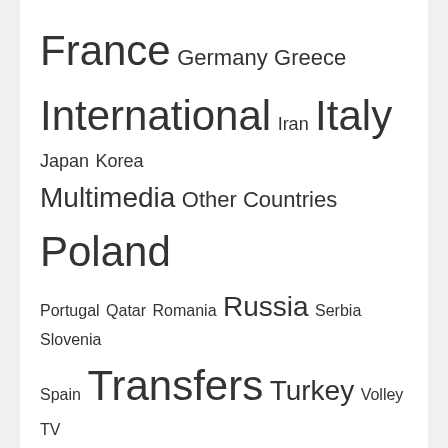France Germany Greece International Iran Italy Japan Korea Multimedia Other Countries Poland Portugal Qatar Romania Russia Serbia Slovenia Spain Transfers Turkey Volley TV
20 RANDOM PICS FROM OUR GALLERIES
[Figure (photo): Three sports/volleyball photos shown in a row at the bottom of the page]